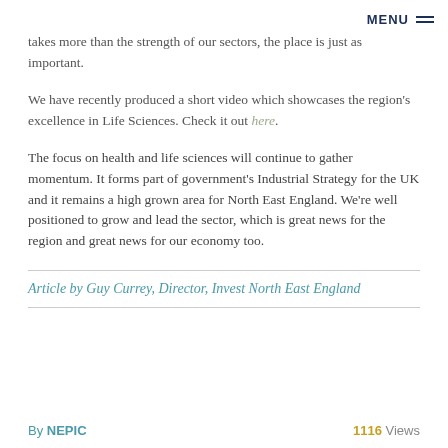MENU ≡
takes more than the strength of our sectors, the place is just as important.
We have recently produced a short video which showcases the region's excellence in Life Sciences. Check it out here.
The focus on health and life sciences will continue to gather momentum. It forms part of government's Industrial Strategy for the UK and it remains a high grown area for North East England. We're well positioned to grow and lead the sector, which is great news for the region and great news for our economy too.
Article by Guy Currey, Director, Invest North East England
By NEPIC    1116 Views